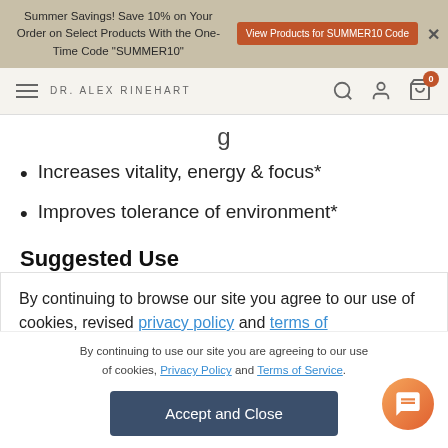Summer Savings! Save 10% on Your Order on Select Products With the One-Time Code "SUMMER10" | View Products for SUMMER10 Code
DR. ALEX RINEHART
Increases vitality, energy & focus*
Improves tolerance of environment*
Suggested Use
Intake Instructions: Shake Well
By continuing to browse our site you agree to our use of cookies, revised privacy policy and terms of
By continuing to use our site you are agreeing to our use of cookies, Privacy Policy and Terms of Service.
Accept and Close